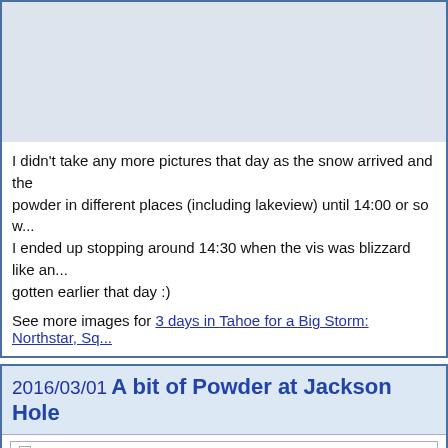[Figure (photo): Snowy mountain/ski scene photo placeholder, light blue-grey background]
I didn't take any more pictures that day as the snow arrived and the powder in different places (including lakeview) until 14:00 or so w... I ended up stopping around 14:30 when the vis was blizzard like an... gotten earlier that day :)
See more images for 3 days in Tahoe for a Big Storm: Northstar, Sq...
2016/03/01 A bit of Powder at Jackson Hole
π 2016-03-01 01:01 in Snow
After not too great conditions at Taos Mountain, Arturo drove us to... arrived. In real life, it was only an inch or so and the 7 inches that w... As a result, the day we arrived wasn't that great, I actually managed... inches and that made things better. Some parts of the mountain wer... reasonably good. We also found some untouched powder runs that ... mostly untouched powder field, and the bottom was also not fun, b...